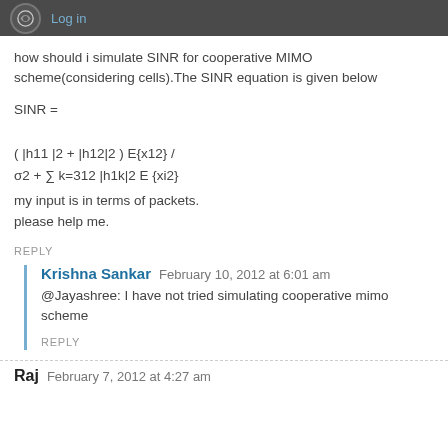Log in
how should i simulate SINR for cooperative MIMO scheme(considering cells).The SINR equation is given below
my input is in terms of packets.
please help me.
REPLY
Krishna Sankar  February 10, 2012 at 6:01 am
@Jayashree: I have not tried simulating cooperative mimo scheme
REPLY
Raj  February 7, 2012 at 4:27 am